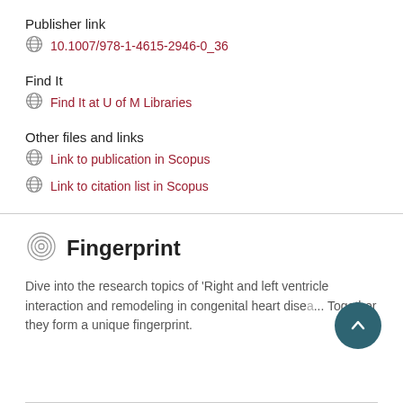Publisher link
10.1007/978-1-4615-2946-0_36
Find It
Find It at U of M Libraries
Other files and links
Link to publication in Scopus
Link to citation list in Scopus
Fingerprint
Dive into the research topics of 'Right and left ventricle interaction and remodeling in congenital heart dise... Together they form a unique fingerprint.